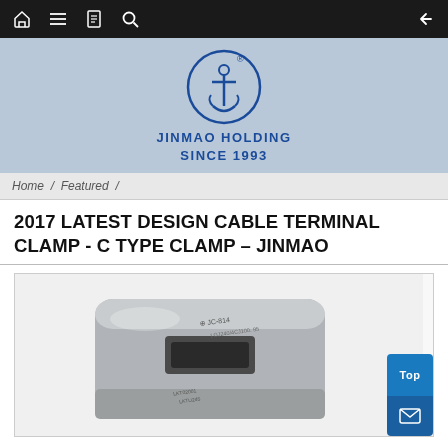Navigation bar with home, menu, book, search icons and back arrow
[Figure (logo): Jinmao Holding logo: circular emblem with anchor/plant symbol in blue, with registered trademark symbol. Text: JINMAO HOLDING SINCE 1993]
Home / Featured /
2017 LATEST DESIGN CABLE TERMINAL CLAMP - C TYPE CLAMP – JINMAO
[Figure (photo): Product photo of a grey metal C-type cable terminal clamp (JC-814) with engraved text showing model number and specifications. Blue 'Top' button and mail icon button visible in bottom-right corner.]